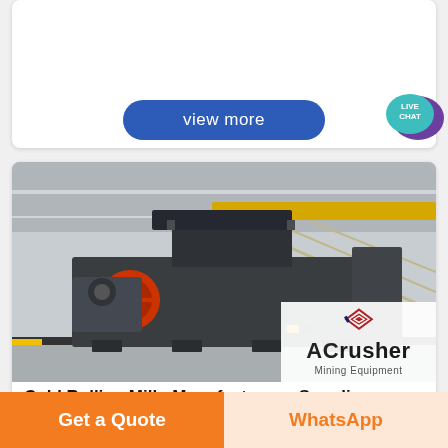[Figure (other): White card area at top of page with view more button]
view more
[Figure (illustration): Live Chat speech bubble icon in teal/purple, top right corner]
[Figure (photo): Photo of a heavy industrial cold rolling mill machine in a large factory/warehouse setting. Machine is dark gray with an orange circular component on the left side. ACrusher Mining Equipment logo overlay in bottom right of photo.]
Cold Rolling Mill - Manufacturers, Suppliers
Get a Quote
WhatsApp